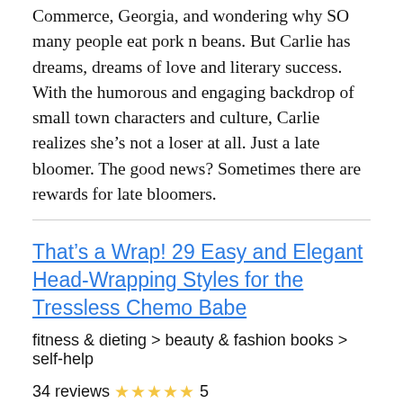Commerce, Georgia, and wondering why SO many people eat pork n beans. But Carlie has dreams, dreams of love and literary success. With the humorous and engaging backdrop of small town characters and culture, Carlie realizes she’s not a loser at all. Just a late bloomer. The good news? Sometimes there are rewards for late bloomers.
That’s a Wrap! 29 Easy and Elegant Head-Wrapping Styles for the Tressless Chemo Babe
fitness & dieting > beauty & fashion books > self-help
34 reviews ★★★★★ 5